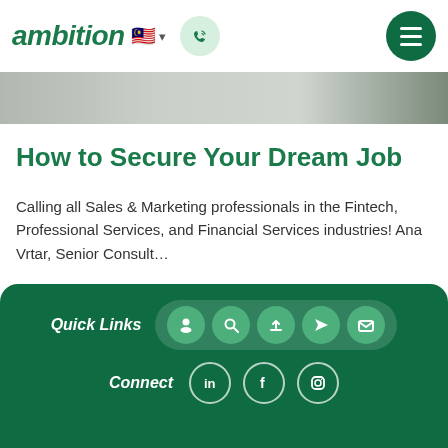ambition
[Figure (screenshot): Hero banner image strip in greyscale tones]
How to Secure Your Dream Job
Calling all Sales & Marketing professionals in the Fintech, Professional Services, and Financial Services industries! Ana Vrtar, Senior Consult…
This page uses cookies. Continuing to browse this website will be seen as your consent to us for placing cookies. More information
Read More
Quick Links | Connect